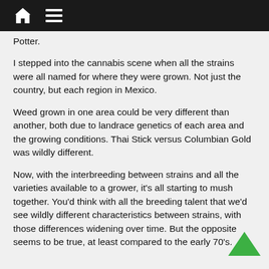Navigation header with home and menu icons
Potter.
I stepped into the cannabis scene when all the strains were all named for where they were grown. Not just the country, but each region in Mexico.
Weed grown in one area could be very different than another, both due to landrace genetics of each area and the growing conditions. Thai Stick versus Columbian Gold was wildly different.
Now, with the interbreeding between strains and all the varieties available to a grower, it’s all starting to mush together. You’d think with all the breeding talent that we’d see wildly different characteristics between strains, with those differences widening over time. But the opposite seems to be true, at least compared to the early 70’s.